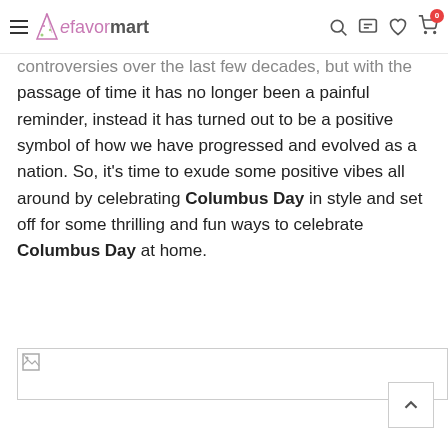eFavorMart navigation bar with hamburger menu, logo, search, chat, wishlist, cart icons
controversies over the last few decades, but with the passage of time it has no longer been a painful reminder, instead it has turned out to be a positive symbol of how we have progressed and evolved as a nation. So, it's time to exude some positive vibes all around by celebrating Columbus Day in style and set off for some thrilling and fun ways to celebrate Columbus Day at home.
[Figure (photo): Partially visible image placeholder (broken image icon) at bottom of page]